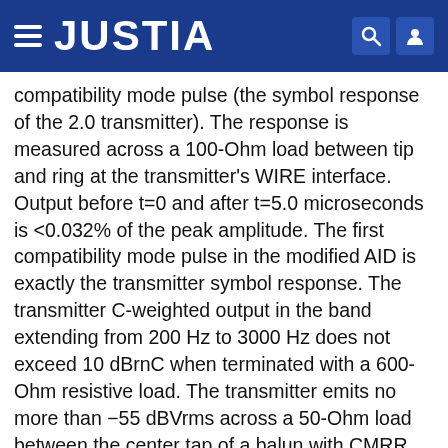JUSTIA
compatibility mode pulse (the symbol response of the 2.0 transmitter). The response is measured across a 100-Ohm load between tip and ring at the transmitter's WIRE interface. Output before t=0 and after t=5.0 microseconds is <0.032% of the peak amplitude. The first compatibility mode pulse in the modified AID is exactly the transmitter symbol response. The transmitter C-weighted output in the band extending from 200 Hz to 3000 Hz does not exceed 10 dBrnC when terminated with a 600-Ohm resistive load. The transmitter emits no more than −55 dBVrms across a 50-Ohm load between the center tap of a balun with CMRR >60 dB and the transceiver ground in the band extending from 0.1 MHz to 50 MHz. The transmitter clock frequency is accurate to within +/−100 ppm over all operating temperatures for the device. The minimum operating temperature range for this characteristic is 0 to 70 degrees C. In